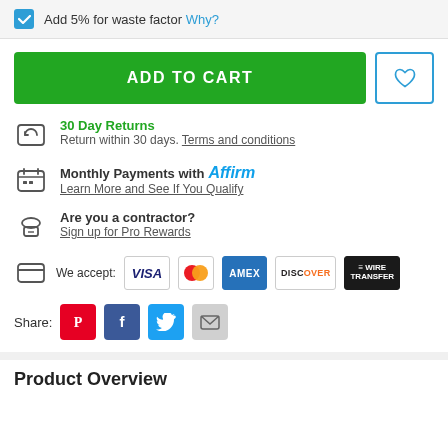Add 5% for waste factor Why?
ADD TO CART
30 Day Returns
Return within 30 days. Terms and conditions
Monthly Payments with Affirm
Learn More and See If You Qualify
Are you a contractor?
Sign up for Pro Rewards
We accept: VISA, Mastercard, AMEX, DISCOVER, WIRE TRANSFER
Share:
Product Overview